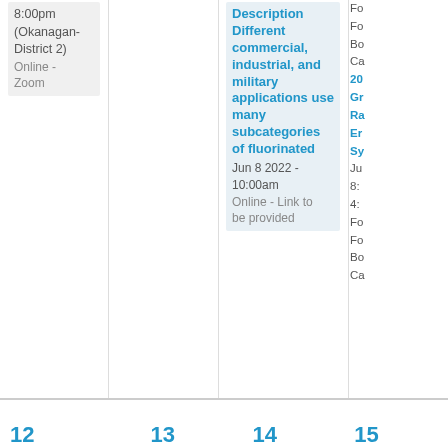8:00pm (Okanagan-District 2)
Online - Zoom
Description Different commercial, industrial, and military applications use many subcategories of fluorinated
Jun 8 2022 - 10:00am
Online - Link to be provided
Fo
Fo
Bo
Ca
20
Gr
Ra
Er
Sy
Ju
8:
4:
Fo
Fo
Bo
Ca
12  13  14  15